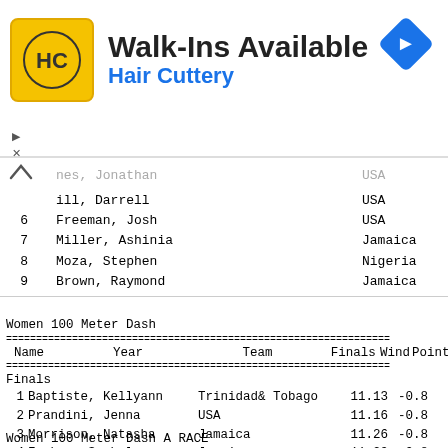[Figure (infographic): Hair Cuttery advertisement banner with HC logo and navigation icon]
| # | Name | Team |
| --- | --- | --- |
|  | nes, Jonathan | USA |
|  | ill, Darrell | USA |
| 6 | Freeman, Josh | USA |
| 7 | Miller, Ashinia | Jamaica |
| 8 | Moza, Stephen | Nigeria |
| 9 | Brown, Raymond | Jamaica |
Women 100 Meter Dash
| Name | Year | Team | Finals | Wind | Points |
| --- | --- | --- | --- | --- | --- |
| Baptiste, Kellyann |  | Trinidad& Tobago | 11.13 | -0.8 |  |
| Prandini, Jenna |  | USA | 11.16 | -0.8 |  |
| Morrison, Natasha |  | Jamaica | 11.26 | -0.8 |  |
| Forbes, Sashalee |  | Jamaica | 11.29 | -0.8 |  |
| Gardner, English |  | USA | 11.32 | -0.8 |  |
| Tenorio, Angela |  | Ecuador | 11.35 | -0.8 |  |
| Pierre, Barbara |  | USA | 11.36 | -0.8 |  |
| Hill, Candice |  | USA | 11.40 | -0.8 |  |
Women 100 Meter Dash A RACE